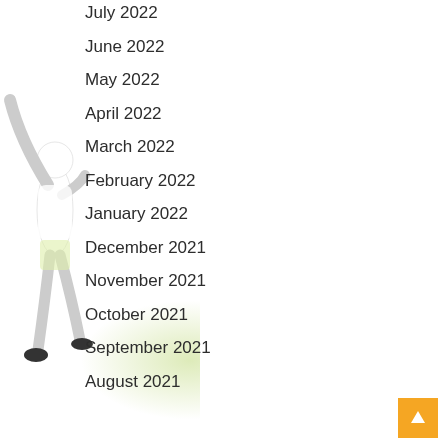July 2022
June 2022
May 2022
April 2022
March 2022
February 2022
January 2022
December 2021
November 2021
October 2021
September 2021
August 2021
[Figure (illustration): Person with arm raised in celebration, overlaid with a blurred green organic blob shape in the lower left area of the page.]